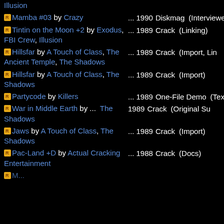Illusion
Mamba #03 by Crazy ... 1990 Diskmag (Interviewed)
Tintin on the Moon +2 by Exodus, FBI Crew, Illusion ... 1989 Crack (Linking)
Hillsfar by A Touch of Class, The Ancient Temple, The Shadows ... 1989 Crack (Import, Lin...)
Hillsfar by A Touch of Class, The Shadows ... 1989 Crack (Import)
Partycode by Killers ... 1989 One-File Demo (Text)
War in Middle Earth by The Shadows ... 1989 Crack (Original Su...)
Jaws by A Touch of Class, The Shadows ... 1989 Crack (Import)
Pac-Land +D by Actual Cracking Entertainment ... 1988 Crack (Docs)